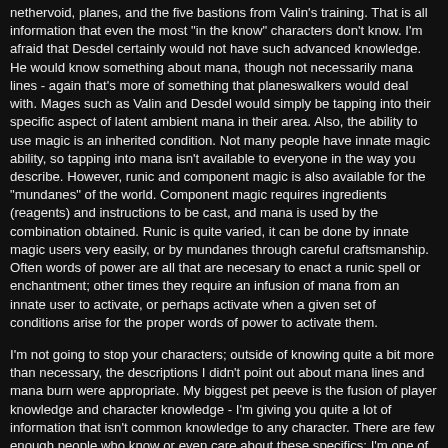nethervoid, planes, and the five bastions from Valin's training. That is all information that even the most "in the know" characters don't know. I'm afraid that Desdel certainly would not have such advanced knowledge. He would know something about mana, though not necessarily mana lines - again that's more of something that planeswalkers would deal with. Mages such as Valin and Desdel would simply be tapping into their specific aspect of latent ambient mana in their area. Also, the ability to use magic is an inherited condition. Not many people have innate magic ability, so tapping into mana isn't available to everyone in the way you describe. However, runic and component magic is also available for the "mundanes" of the world. Component magic requires ingredients (reagents) and instructions to be cast, and mana is used by the combination obtained. Runic is quite varied, it can be done by innate magic users very easily, or by mundanes through careful craftsmanship. Often words of power are all that are necesary to enact a runic spell or enchantment; other times they require an infusion of mana from an innate user to activate, or perhaps activate when a given set of conditions arise for the proper words of power to activate them.
I'm not going to stop your characters; outside of knowing quite a bit more than necessary, the descriptions I didn't point out about mana lines and mana burn were appropriate. My biggest pet peeve is the fusion of player knowledge and character knowledge - I'm giving you quite a lot of information that isn't common knowledge to any character. There are few enough people who know or even care about these specifics; I'm one of them. This information should not be known by characters. It is meant to give you the background and framework of the physics of magic in which your characters will interact, but it is not meant that your characters should know them. Magic is not commonplace here. Users of magic are rare, and extremely knowledgeable ones even rarer. That I'm the only one who can